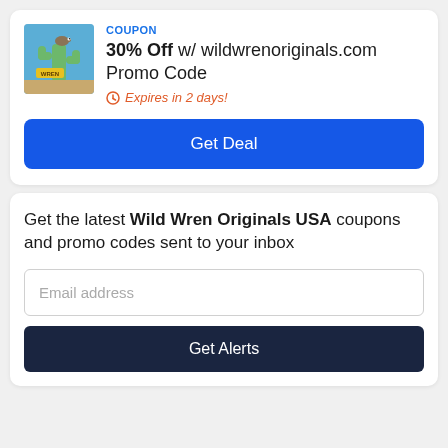COUPON
30% Off w/ wildwrenoriginals.com Promo Code
Expires in 2 days!
Get Deal
Get the latest Wild Wren Originals USA coupons and promo codes sent to your inbox
Email address
Get Alerts